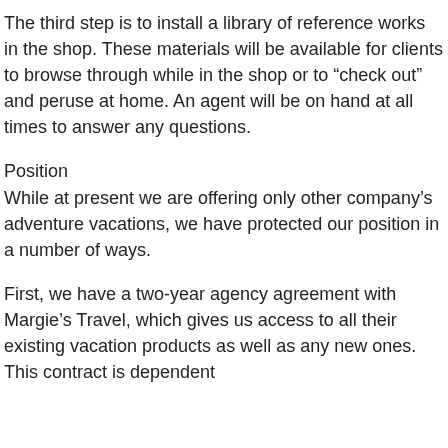The third step is to install a library of reference works in the shop. These materials will be available for clients to browse through while in the shop or to “check out” and peruse at home. An agent will be on hand at all times to answer any questions.
Position
While at present we are offering only other company’s adventure vacations, we have protected our position in a number of ways.
First, we have a two-year agency agreement with Margie’s Travel, which gives us access to all their existing vacation products as well as any new ones. This contract is dependent